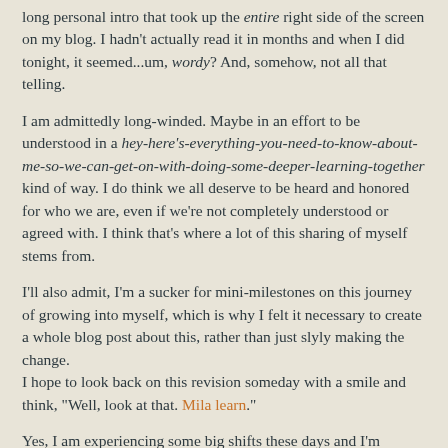long personal intro that took up the entire right side of the screen on my blog. I hadn't actually read it in months and when I did tonight, it seemed...um, wordy? And, somehow, not all that telling.
I am admittedly long-winded. Maybe in an effort to be understood in a hey-here's-everything-you-need-to-know-about-me-so-we-can-get-on-with-doing-some-deeper-learning-together kind of way. I do think we all deserve to be heard and honored for who we are, even if we're not completely understood or agreed with. I think that's where a lot of this sharing of myself stems from.
I'll also admit, I'm a sucker for mini-milestones on this journey of growing into myself, which is why I felt it necessary to create a whole blog post about this, rather than just slyly making the change.
I hope to look back on this revision someday with a smile and think, "Well, look at that. Mila learn."
Yes, I am experiencing some big shifts these days and I'm finding that the more I try to explain myself, the more I talk myself into a tight box. That's the thing about introductions. I'm learning that the "truth" about who I am may continue to be a mystery to me for a